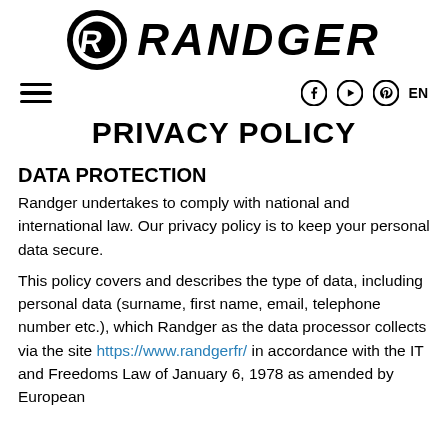[Figure (logo): Randger brand logo: circular R icon on left, RANDGER text in bold black on right]
Navigation bar with hamburger menu on left, social icons (Facebook, YouTube, Pinterest) and EN language selector on right
PRIVACY POLICY
DATA PROTECTION
Randger undertakes to comply with national and international law. Our privacy policy is to keep your personal data secure.
This policy covers and describes the type of data, including personal data (surname, first name, email, telephone number etc.), which Randger as the data processor collects via the site https://www.randgerfr/ in accordance with the IT and Freedoms Law of January 6, 1978 as amended by European